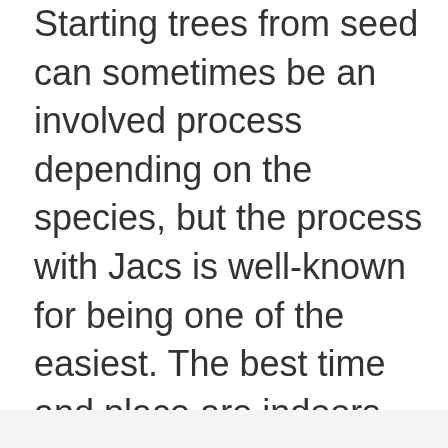Starting trees from seed can sometimes be an involved process depending on the species, but the process with Jacs is well-known for being one of the easiest. The best time and place are indoors and in the spring. You can pick Jacaranda seed pods right from the tree; ignore the pods on the ground, as they may not contain seeds.